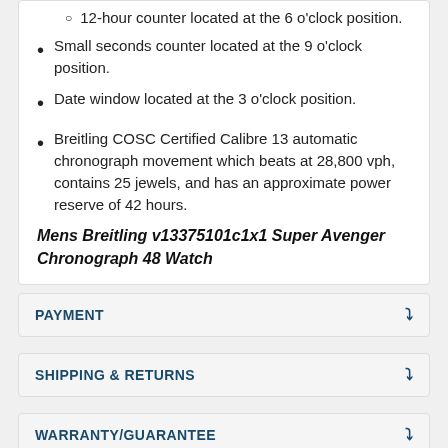12-hour counter located at the 6 o'clock position.
Small seconds counter located at the 9 o'clock position.
Date window located at the 3 o'clock position.
Breitling COSC Certified Calibre 13 automatic chronograph movement which beats at 28,800 vph, contains 25 jewels, and has an approximate power reserve of 42 hours.
Mens Breitling v13375101c1x1 Super Avenger Chronograph 48 Watch
PAYMENT
SHIPPING & RETURNS
WARRANTY/GUARANTEE